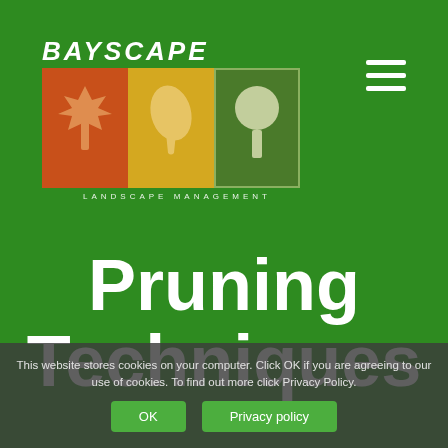[Figure (logo): Bayscape Landscape Management logo — text 'BAYSCAPE' above three colored panels (orange with maple leaf, yellow with leaf, dark green with tree silhouette), subtitle 'LANDSCAPE MANAGEMENT']
[Figure (other): Hamburger menu icon — three horizontal white bars stacked vertically]
Pruning Techniques
This website stores cookies on your computer. Click OK if you are agreeing to our use of cookies. To find out more click Privacy Policy.
OK   Privacy policy